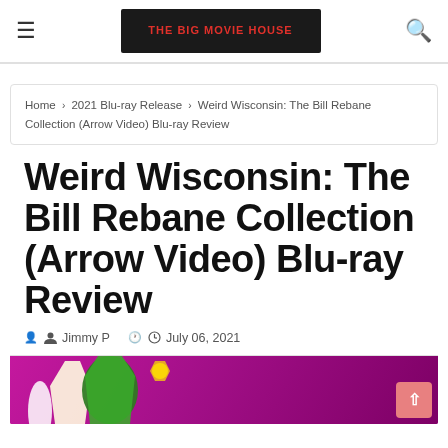The Big Movie House — navigation header with hamburger menu, logo, and search icon
Home › 2021 Blu-ray Release › Weird Wisconsin: The Bill Rebane Collection (Arrow Video) Blu-ray Review
Weird Wisconsin: The Bill Rebane Collection (Arrow Video) Blu-ray Review
Jimmy P  July 06, 2021
[Figure (photo): Colorful movie art strip with magenta/pink background showing silhouetted figures and a green creature]